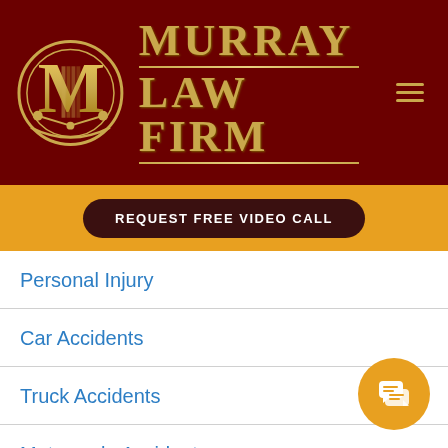[Figure (logo): Murray Law Firm logo with gold M emblem on dark red background, gold text reading MURRAY LAW FIRM]
REQUEST FREE VIDEO CALL
Personal Injury
Car Accidents
Truck Accidents
Motorcycle Accidents
Slip and Fall Injuries
Construction Accidents
Bicycle Accidents
[Figure (illustration): Orange circular chat button with speech bubble icon]